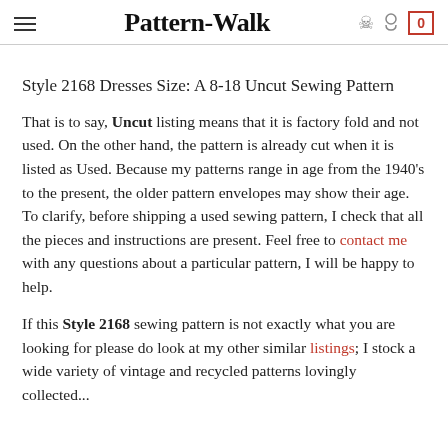Pattern-Walk
Style 2168 Dresses Size: A 8-18 Uncut Sewing Pattern
That is to say, Uncut listing means that it is factory fold and not used. On the other hand, the pattern is already cut when it is listed as Used. Because my patterns range in age from the 1940's to the present, the older pattern envelopes may show their age. To clarify, before shipping a used sewing pattern, I check that all the pieces and instructions are present. Feel free to contact me with any questions about a particular pattern, I will be happy to help.
If this Style 2168 sewing pattern is not exactly what you are looking for please do look at my other similar listings; I stock a wide variety of vintage and recycled patterns lovingly collected...